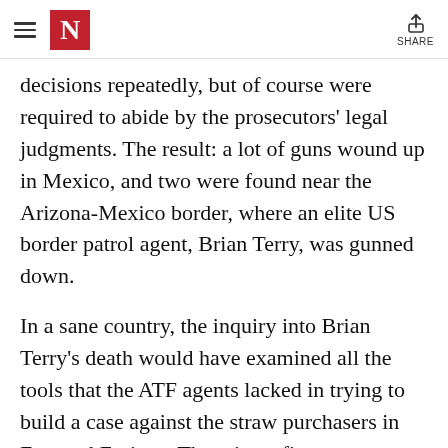N (The New Yorker logo) | SHARE
decisions repeatedly, but of course were required to abide by the prosecutors' legal judgments. The result: a lot of guns wound up in Mexico, and two were found near the Arizona-Mexico border, where an elite US border patrol agent, Brian Terry, was gunned down.
In a sane country, the inquiry into Brian Terry's death would have examined all the tools that the ATF agents lacked in trying to build a case against the straw purchasers in Fast and Furious. There is no firearms